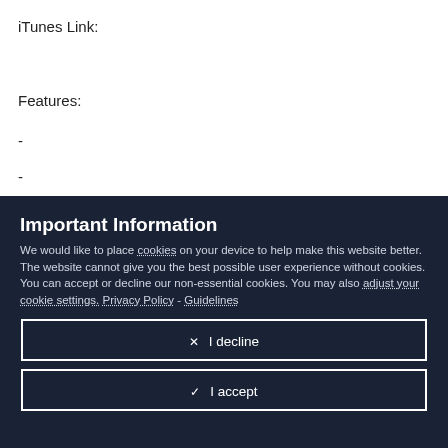iTunes Link:
Features:
-
-
Important Information
We would like to place cookies on your device to help make this website better. The website cannot give you the best possible user experience without cookies. You can accept or decline our non-essential cookies. You may also adjust your cookie settings. Privacy Policy - Guidelines
✕  I decline
✓  I accept